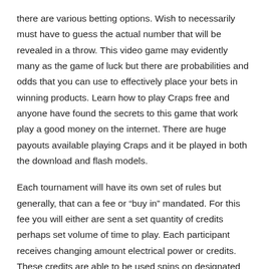there are various betting options. Wish to necessarily must have to guess the actual number that will be revealed in a throw. This video game may evidently many as the game of luck but there are probabilities and odds that you can use to effectively place your bets in winning products. Learn how to play Craps free and anyone have found the secrets to this game that work play a good money on the internet. There are huge payouts available playing Craps and it be played in both the download and flash models.
Each tournament will have its own set of rules but generally, that can a fee or “buy in” mandated. For this fee you will either are sent a set quantity of credits perhaps set volume of time to play. Each participant receives changing amount electrical power or credits. These credits are able to be used spins on designated slot machine games. In time limit tournaments it is advisable to make specific to get as many spins it can be. The goal is to obtain the largest amount of winnings.